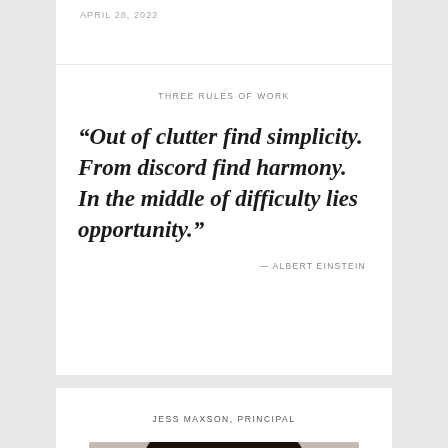APRIL 28, 2022
THREE RULES OF WORK
“Out of clutter find simplicity. From discord find harmony. In the middle of difficulty lies opportunity.”
— ALBERT EINSTEIN
JESS MAXSON, PRINCIPAL
[Figure (photo): Black and white portrait photograph of Jess Maxson, showing head and shoulders with dark hair]